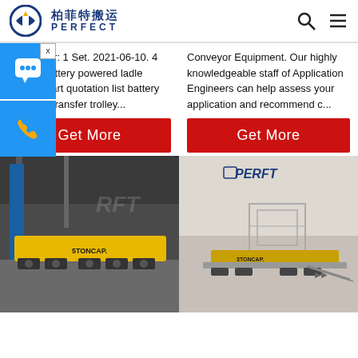柏菲特搬运 PERFECT
Min. Order: 1 Set. 2021-06-10. 4 wheels battery powered ladle transfer cart quotation list battery operated transfer trolley...
Conveyor Equipment. Our highly knowledgeable staff of Application Engineers can help assess your application and recommend c...
[Figure (screenshot): Red Get More button on left column]
[Figure (screenshot): Red Get More button on right column]
[Figure (photo): Industrial battery-powered transfer cart with yellow platform in a factory setting, labeled 5TON CAP.]
[Figure (photo): PERFT branded battery-powered flat transfer cart with frame structure, labeled 3TON CAP, on light background.]